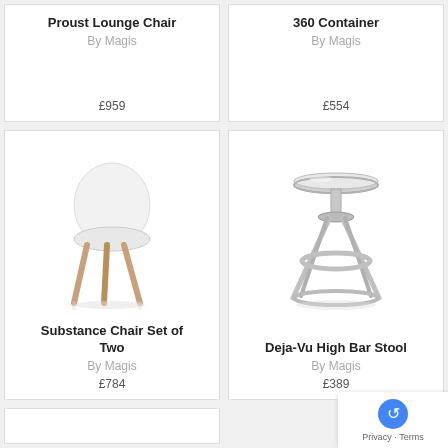Proust Lounge Chair
By Magis
£959
360 Container
By Magis
£554
[Figure (photo): White molded plastic chair with wooden legs - Substance Chair Set of Two]
Substance Chair Set of Two
By Magis
£784
[Figure (photo): Chrome metal high bar stool with round seat and circular footrest - Deja-Vu High Bar Stool]
Deja-Vu High Bar Stool
By Magis
£389